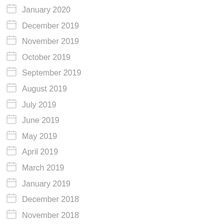January 2020
December 2019
November 2019
October 2019
September 2019
August 2019
July 2019
June 2019
May 2019
April 2019
March 2019
January 2019
December 2018
November 2018
October 2018
September 2018
August 2018
July 2018
June 2018
May 2018
April 2018